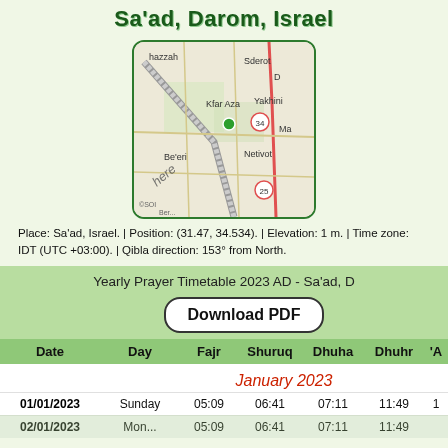Sa'ad, Darom, Israel
[Figure (map): Map showing Sa'ad area in Israel with nearby locations: Sderot, Kfar Aza, Yakhini, Be'eri, Netivot. Green dot marks Sa'ad location.]
Place: Sa'ad, Israel. | Position: (31.47, 34.534). | Elevation: 1 m. | Time zone: IDT (UTC +03:00). | Qibla direction: 153° from North.
| Date | Day | Fajr | Shuruq | Dhuha | Dhuhr | 'A... |
| --- | --- | --- | --- | --- | --- | --- |
| January 2023 |  |  |  |  |  |  |
| 01/01/2023 | Sunday | 05:09 | 06:41 | 07:11 | 11:49 | 1 |
| 02/01/2023 | Monday | 05:09 | 06:41 | 07:11 | 11:49 |  |